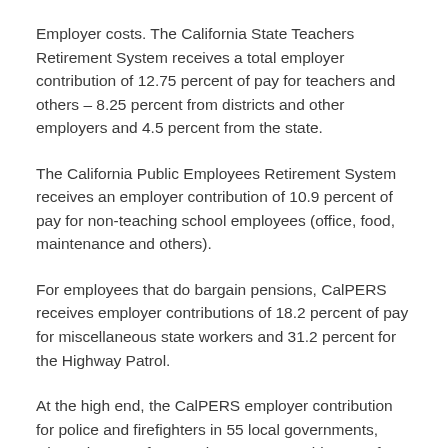Employer costs. The California State Teachers Retirement System receives a total employer contribution of 12.75 percent of pay for teachers and others – 8.25 percent from districts and other employers and 4.5 percent from the state.
The California Public Employees Retirement System receives an employer contribution of 10.9 percent of pay for non-teaching school employees (office, food, maintenance and others).
For employees that do bargain pensions, CalPERS receives employer contributions of 18.2 percent of pay for miscellaneous state workers and 31.2 percent for the Highway Patrol.
At the high end, the CalPERS employer contribution for police and firefighters in 55 local governments, where these “safety” worker costs are a big part of